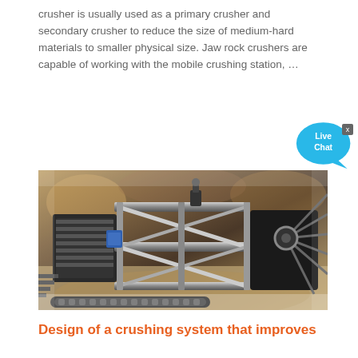crusher is usually used as a primary crusher and secondary crusher to reduce the size of medium-hard materials to smaller physical size. Jaw rock crushers are capable of working with the mobile crushing station, …
[Figure (photo): Aerial/top-down view of a large jaw crusher or mobile crushing machine in a quarry or underground mining environment. The machinery shows conveyor belts, frames, and mechanical components viewed from above.]
Design of a crushing system that improves